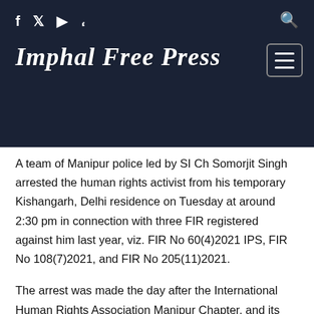Imphal Free Press
A team of Manipur police led by SI Ch Somorjit Singh arrested the human rights activist from his temporary Kishangarh, Delhi residence on Tuesday at around 2:30 pm in connection with three FIR registered against him last year, viz. FIR No 60(4)2021 IPS, FIR No 108(7)2021, and FIR No 205(11)2021.
The arrest was made the day after the International Human Rights Association Manipur Chapter, and its Sadar Hills and Tengnoupal District branch condemned the FIRs against its president and demanded immediate revocation.
Mentioned may be made that the Federation of Uuomee (FoU) and Kangleingh Kanba Lup (KKL) had